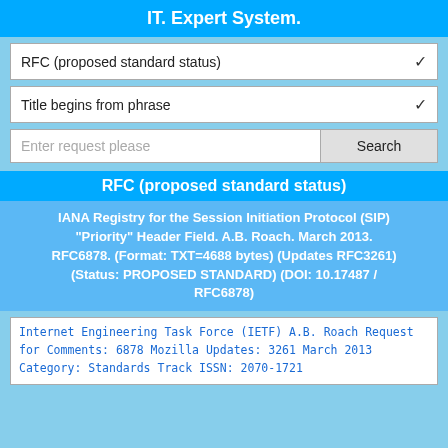IT. Expert System.
RFC (proposed standard status)
Title begins from phrase
Enter request please
RFC (proposed standard status)
IANA Registry for the Session Initiation Protocol (SIP) "Priority" Header Field. A.B. Roach. March 2013. RFC6878. (Format: TXT=4688 bytes) (Updates RFC3261) (Status: PROPOSED STANDARD) (DOI: 10.17487 / RFC6878)
Internet Engineering Task Force (IETF)
A.B. Roach
Request for Comments: 6878
Mozilla
Updates: 3261
March 2013
Category: Standards Track
ISSN: 2070-1721